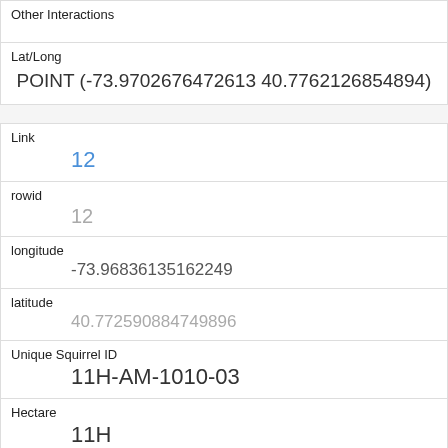Other Interactions
Lat/Long
POINT (-73.9702676472613 40.7762126854894)
Link
12
rowid
12
longitude
-73.96836135162249
latitude
40.772590884749896
Unique Squirrel ID
11H-AM-1010-03
Hectare
11H
Shift
AM
Date
10102018